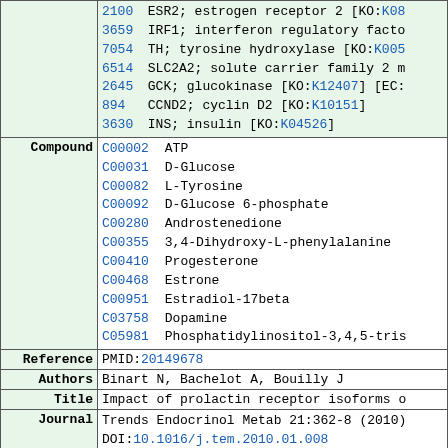| Field | Content |
| --- | --- |
| (gene cont.) | 2100  ESR2; estrogen receptor 2 [KO:K08...]
3659  IRF1; interferon regulatory facto...
7054  TH; tyrosine hydroxylase [KO:K005...]
6514  SLC2A2; solute carrier family 2 m...
2645  GCK; glucokinase [KO:K12407] [EC:...]
894   CCND2; cyclin D2 [KO:K10151]
3630  INS; insulin [KO:K04526] |
| Compound | C00002  ATP
C00031  D-Glucose
C00082  L-Tyrosine
C00092  D-Glucose 6-phosphate
C00280  Androstenedione
C00355  3,4-Dihydroxy-L-phenylalanine
C00410  Progesterone
C00468  Estrone
C00951  Estradiol-17beta
C03758  Dopamine
C05981  Phosphatidylinositol-3,4,5-tris... |
| Reference | PMID:20149678 |
| Authors | Binart N, Bachelot A, Bouilly J |
| Title | Impact of prolactin receptor isoforms o... |
| Journal | Trends Endocrinol Metab 21:362-8 (2010)
DOI:10.1016/j.tem.2010.01.008 |
| Reference | PMID:17307904 |
| Authors | ... |